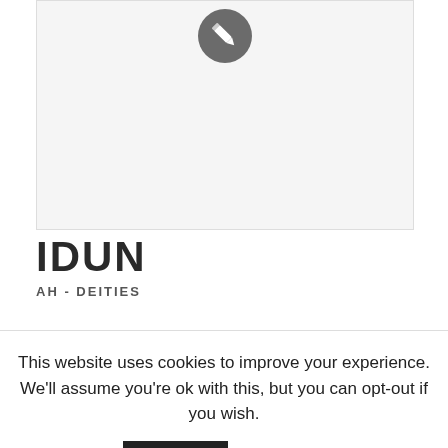[Figure (illustration): Light gray placeholder image box with a circular dark gray pencil/edit icon centered near the top]
IDUN
AH - DEITIES
This website uses cookies to improve your experience. We'll assume you're ok with this, but you can opt-out if you wish.
Accept  Read More